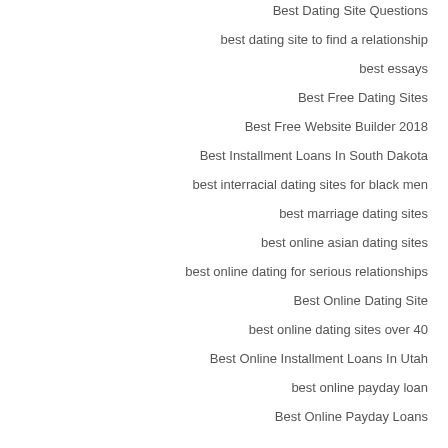Best Dating Site Questions
best dating site to find a relationship
best essays
Best Free Dating Sites
Best Free Website Builder 2018
Best Installment Loans In South Dakota
best interracial dating sites for black men
best marriage dating sites
best online asian dating sites
best online dating for serious relationships
Best Online Dating Site
best online dating sites over 40
Best Online Installment Loans In Utah
best online payday loan
Best Online Payday Loans